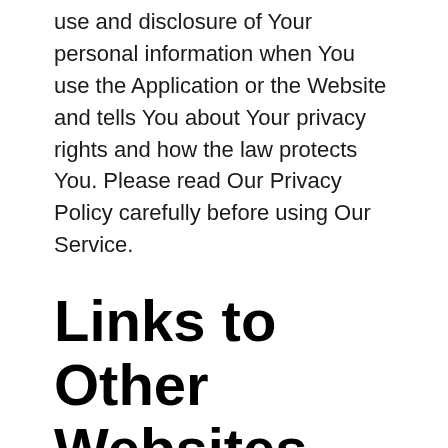use and disclosure of Your personal information when You use the Application or the Website and tells You about Your privacy rights and how the law protects You. Please read Our Privacy Policy carefully before using Our Service.
Links to Other Websites
Our Service may contain links to third-party web sites or services that are not owned or controlled by the Company.
The Company has no control over, and assumes no responsibility for the content, privacy policies,